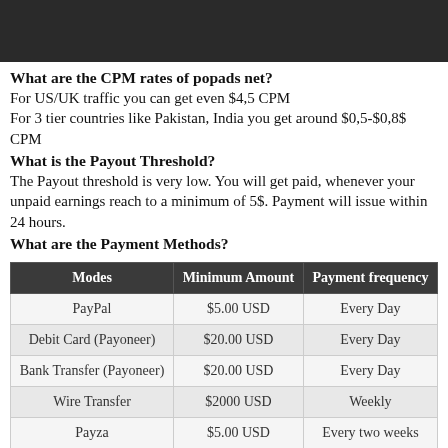[Figure (other): Dark banner/header image at top of page]
What are the CPM rates of popads net?
For US/UK traffic you can get even $4,5 CPM
For 3 tier countries like Pakistan, India you get around $0,5-$0,8$ CPM
What is the Payout Threshold?
The Payout threshold is very low. You will get paid, whenever your unpaid earnings reach to a minimum of 5$. Payment will issue within 24 hours.
What are the Payment Methods?
| Modes | Minimum Amount | Payment frequency |
| --- | --- | --- |
| PayPal | $5.00 USD | Every Day |
| Debit Card (Payoneer) | $20.00 USD | Every Day |
| Bank Transfer (Payoneer) | $20.00 USD | Every Day |
| Wire Transfer | $2000 USD | Weekly |
| Payza | $5.00 USD | Every two weeks |
Conclusion
As there are thousands of alternative available for pop-ups under ads but no one can compete with popads because it provides high CPM and daily payment. If you rejected by Adsense program, then